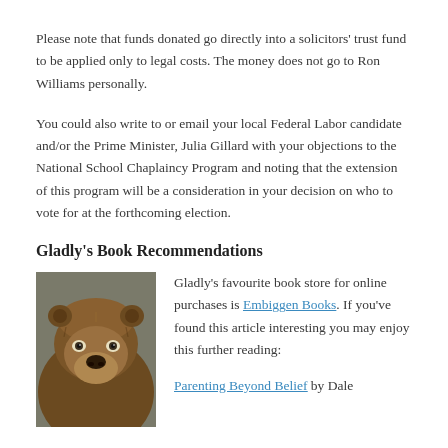Please note that funds donated go directly into a solicitors' trust fund to be applied only to legal costs.  The money does not go to Ron Williams personally.
You could also write to or email your local Federal Labor candidate and/or the Prime Minister, Julia Gillard with your objections to the National School Chaplaincy Program and noting that the extension of this program will be a consideration in your decision on who to vote for at the forthcoming election.
Gladly's Book Recommendations
[Figure (photo): Close-up photo of a brown bear (grizzly bear) facing the camera]
Gladly's favourite book store for online purchases is Embiggen Books.  If you've found this article interesting you may enjoy this further reading:
Parenting Beyond Belief by Dale